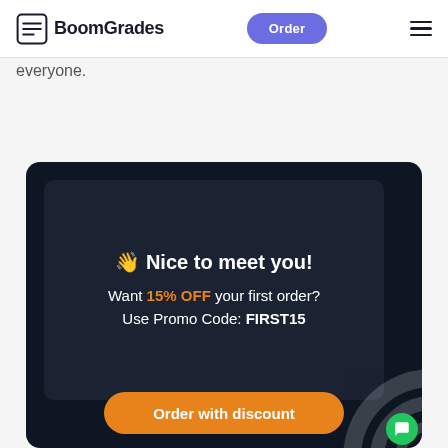BoomGrades — Order
everyone.
[Figure (screenshot): Promotional popup card with dark background. Shows waving hand emoji, 'Nice to meet you!' heading, '15% OFF' promo text in orange, 'Use Promo Code: FIRST15', and an 'Order with discount' orange button. A green chat bubble appears bottom-right.]